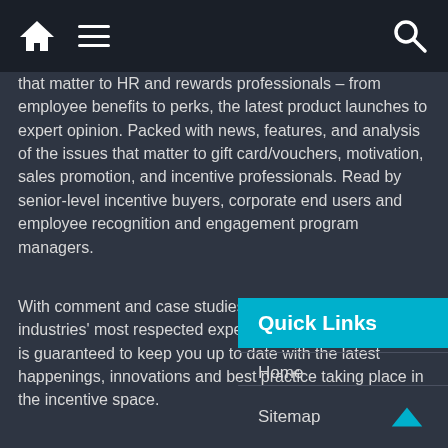Home | Menu | Search
that matter to HR and rewards professionals – from employee benefits to perks, the latest product launches to expert opinion. Packed with news, features, and analysis of the issues that matter to gift card/vouchers, motivation, sales promotion, and incentive professionals. Read by senior-level incentive buyers, corporate end users and employee recognition and engagement program managers.
With comment and case studies from many of the industries' most respected experts, Incentive & Motivation is guaranteed to keep you up to date with the latest happenings, innovations and best practice taking place in the incentive space.
Quick Links
Home
Sitemap